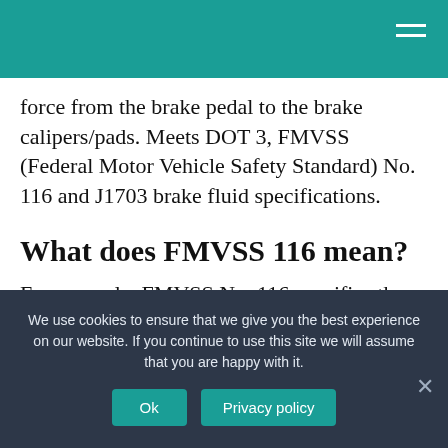force from the brake pedal to the brake calipers/pads. Meets DOT 3, FMVSS (Federal Motor Vehicle Safety Standard) No. 116 and J1703 brake fluid specifications.
What does FMVSS 116 mean?
For example, FMVSS No. 116 specifies the use of materials and apparatus set forth in the tables and appendices of SAE Standard J1703
We use cookies to ensure that we give you the best experience on our website. If you continue to use this site we will assume that you are happy with it.